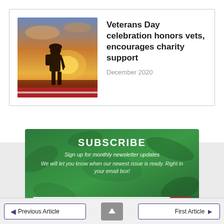[Figure (photo): Silhouette of a soldier with backpack and weapon against a dramatic sunset sky with orange and yellow clouds]
Veterans Day celebration honors vets, encourages charity support
December 2020
[Figure (infographic): Green subscribe banner with blurred leaf/plant background. Contains SUBSCRIBE heading, sign up text, and email input field with sign up button.]
Sign up for monthly newsletter updates
We will let you know when our newest issue is ready. Right in your email box!